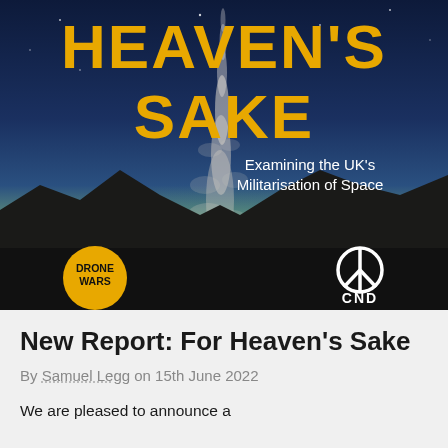[Figure (illustration): Book cover for 'For Heaven's Sake: Examining the UK's Militarisation of Space'. Dark background with a rocket launch trail rising against a dusk sky with mountains silhouetted. Large yellow/gold text reads 'HEAVEN'S SAKE' at top. White subtitle text 'Examining the UK's Militarisation of Space'. Bottom bar shows Drone Wars logo (yellow circle) and CND peace symbol logo in white.]
New Report: For Heaven's Sake
By Samuel Legg on 15th June 2022
We are pleased to announce a